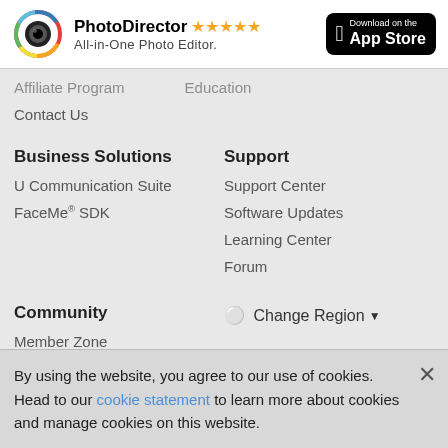[Figure (infographic): PhotoDirector app advertisement banner with app icon, 5-star rating, subtitle 'All-in-One Photo Editor.' and App Store download button]
Affiliate Program
Education
Contact Us
Business Solutions
Support
U Communication Suite
Support Center
FaceMe® SDK
Software Updates
Learning Center
Forum
Community
⊕ Change Region▼
Member Zone
By using the website, you agree to our use of cookies. Head to our cookie statement to learn more about cookies and manage cookies on this website.